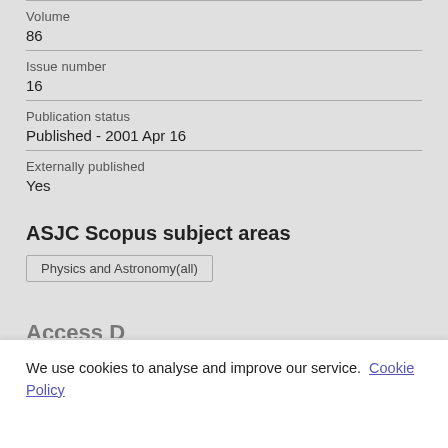Volume
86
Issue number
16
Publication status
Published - 2001 Apr 16
Externally published
Yes
ASJC Scopus subject areas
Physics and Astronomy(all)
We use cookies to analyse and improve our service. Cookie Policy